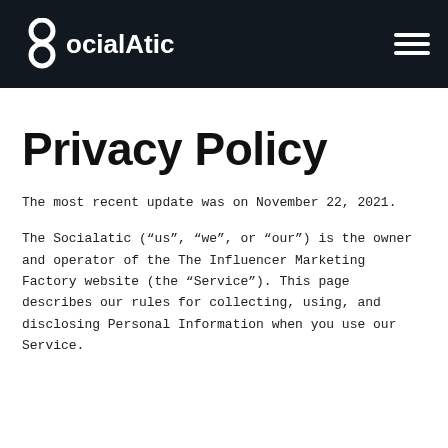[Figure (logo): SocialAtic logo — white stylized infinity/figure-8 icon followed by the text 'ocialAtic' in white bold sans-serif on dark navy background, with hamburger menu icon on the right]
Privacy Policy
The most recent update was on November 22, 2021.
The Socialatic (“us”, “we”, or “our”) is the owner and operator of the The Influencer Marketing Factory website (the “Service”). This page describes our rules for collecting, using, and disclosing Personal Information when you use our Service.